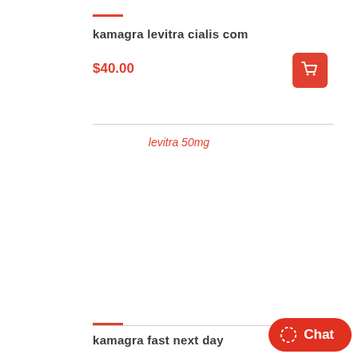kamagra levitra cialis com
$40.00
levitra 50mg
kamagra fast next day
[Figure (other): Orange shopping cart button icon]
[Figure (other): Red chat button with circle icon and text Chat]